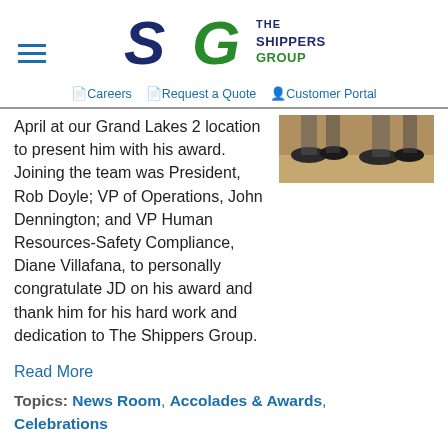The Shippers Group — Careers | Request a Quote | Customer Portal
April at our Grand Lakes 2 location to present him with his award. Joining the team was President, Rob Doyle; VP of Operations, John Dennington; and VP Human Resources-Safety Compliance, Diane Villafana, to personally congratulate JD on his award and thank him for his hard work and dedication to The Shippers Group.
[Figure (photo): Partial photo showing feet/shoes of people standing on a floor]
Read More
Topics: News Room, Accolades & Awards, Celebrations